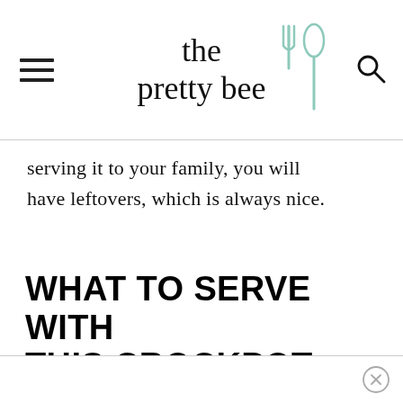the pretty bee
serving it to your family, you will have leftovers, which is always nice.
WHAT TO SERVE WITH THIS CROCKPOT MEXICAN CHICKEN: